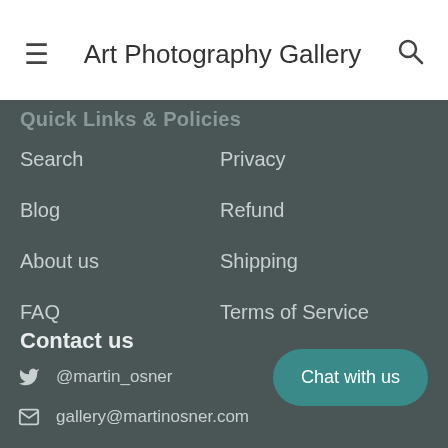Art Photography Gallery
Quick Links & Policies
Search
Privacy
Blog
Refund
About us
Shipping
FAQ
Terms of Service
Contact us
@martin_osner
gallery@martinosner.com
+27 21 790 6494